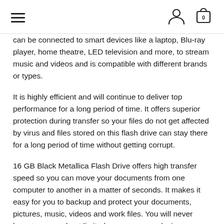Navigation menu, user account icon, shopping cart icon (0 items)
can be connected to smart devices like a laptop, Blu-ray player, home theatre, LED television and more, to stream music and videos and is compatible with different brands or types.
It is highly efficient and will continue to deliver top performance for a long period of time. It offers superior protection during transfer so your files do not get affected by virus and files stored on this flash drive can stay there for a long period of time without getting corrupt.
16 GB Black Metallica Flash Drive offers high transfer speed so you can move your documents from one computer to another in a matter of seconds. It makes it easy for you to backup and protect your documents, pictures, music, videos and work files. You will never have to worry about limited space on your devices as you can store a lot of files on this 16 GB flash drive. This flash drive will never leave you running out of the space...